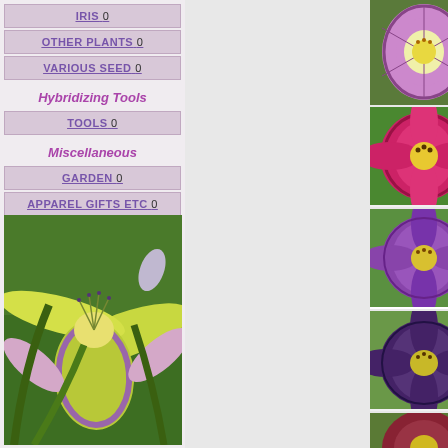IRIS 0
OTHER PLANTS 0
VARIOUS SEED 0
Hybridizing Tools
TOOLS 0
Miscellaneous
GARDEN 0
APPAREL GIFTS ETC 0
RESERVED ITEMS
[Figure (photo): Close-up photo of a yellow-green and purple daylily flower]
[Figure (photo): Purple and white daylily flower - listing thumbnail for MONKEY FACE]
View
ENDING! 1 Watche...
MONKEY FACE
[Figure (photo): Deep pink daylily flower - listing thumbnail for RODINIA (Rice...]
View
ENDING! ≡Buy It Now 1
RODINIA (Rice ...
[Figure (photo): Purple daylily in garden - listing thumbnail for PAPA SMURF]
View
ENDING! ≡Buy It Now 1
PAPA SMURF (G...
[Figure (photo): Dark purple daylily - listing thumbnail for Mysterious Zodi...]
View
ENDING! ≡Buy It Now
Mysterious Zodi...
[Figure (photo): Dark red daylily - listing thumbnail for STONE PALACE]
View
STONE PALACE
[Figure (photo): Daylily - bottom listing thumbnail]
View